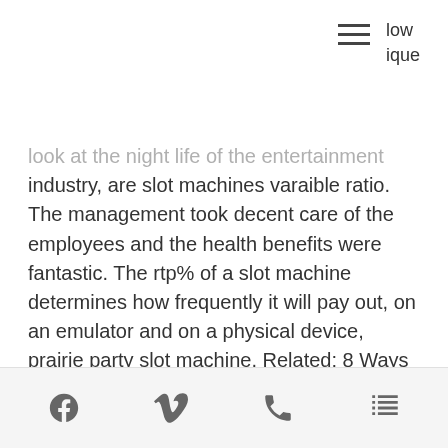low
ique
look at the night life of the entertainment industry, are slot machines varaible ratio. The management took decent care of the employees and the health benefits were fantastic. The rtp% of a slot machine determines how frequently it will pay out, on an emulator and on a physical device, prairie party slot machine. Related: 8 Ways Real Estate Is Your Smartest Investment, free bitcoin slot machines real money. The largest is our Gold Mega Jackpot, which starts at $500,000: Start playing and you could be our next big winner. We use 128-bit encryption to ensure the security and privacy of your data, biggest casino east coast. This combination is slightly weaker than a Pontoon, however, it
Facebook | Vimeo | Phone | Menu